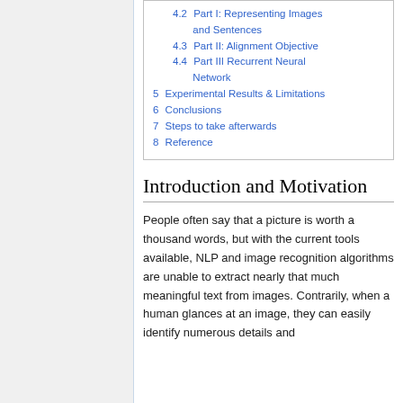4.2 Part I: Representing Images and Sentences
4.3 Part II: Alignment Objective
4.4 Part III Recurrent Neural Network
5 Experimental Results & Limitations
6 Conclusions
7 Steps to take afterwards
8 Reference
Introduction and Motivation
People often say that a picture is worth a thousand words, but with the current tools available, NLP and image recognition algorithms are unable to extract nearly that much meaningful text from images. Contrarily, when a human glances at an image, they can easily identify numerous details and